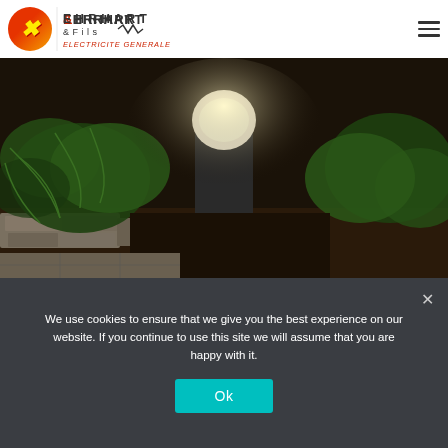Ehrhart & Fils — Electricité Générale logo and navigation
[Figure (photo): Outdoor garden bollard light glowing at night, surrounded by ferns and plants, with stone paving in the foreground and dark mulch background]
We use cookies to ensure that we give you the best experience on our website. If you continue to use this site we will assume that you are happy with it.